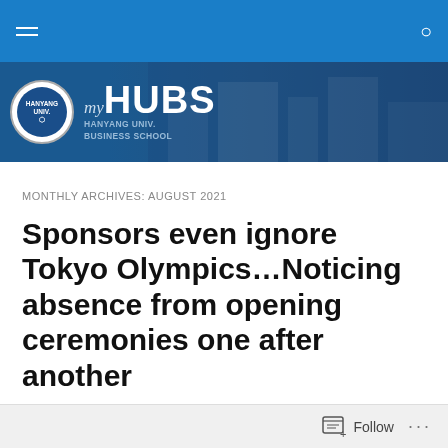[Figure (screenshot): Blue navigation bar with hamburger menu icon on left and search icon on right]
[Figure (logo): myHUBS - Hanyang University Business School banner with circular logo on dark blue background]
MONTHLY ARCHIVES: AUGUST 2021
Sponsors even ignore Tokyo Olympics…Noticing absence from opening ceremonies one after another
Miniun Son